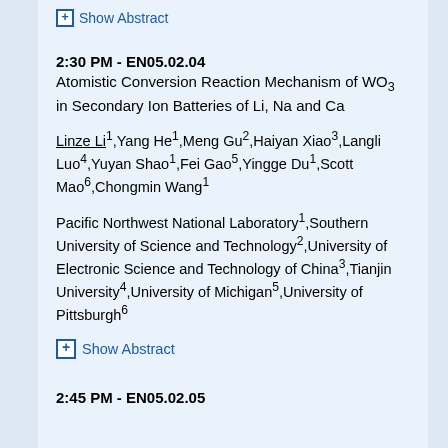Show Abstract
2:30 PM - EN05.02.04
Atomistic Conversion Reaction Mechanism of WO3 in Secondary Ion Batteries of Li, Na and Ca
Linze Li1,Yang He1,Meng Gu2,Haiyan Xiao3,Langli Luo4,Yuyan Shao1,Fei Gao5,Yingge Du1,Scott Mao6,Chongmin Wang1
Pacific Northwest National Laboratory1,Southern University of Science and Technology2,University of Electronic Science and Technology of China3,Tianjin University4,University of Michigan5,University of Pittsburgh6
Show Abstract
2:45 PM - EN05.02.05